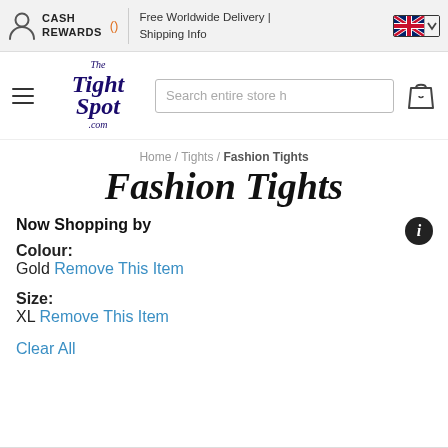CASH REWARDS () | Free Worldwide Delivery | Shipping Info
[Figure (logo): The Tight Spot .com logo in dark purple decorative serif font]
Home / Tights / Fashion Tights
Fashion Tights
Now Shopping by
Colour:
Gold Remove This Item
Size:
XL Remove This Item
Clear All